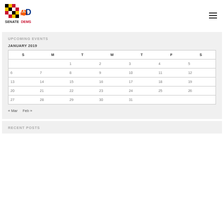[Figure (logo): Maryland Senate Dems logo with Maryland flag crab icon]
UPCOMING EVENTS
JANUARY 2019
| S | M | T | W | T | F | S |
| --- | --- | --- | --- | --- | --- | --- |
|  |  | 1 | 2 | 3 | 4 | 5 |
| 6 | 7 | 8 | 9 | 10 | 11 | 12 |
| 13 | 14 | 15 | 16 | 17 | 18 | 19 |
| 20 | 21 | 22 | 23 | 24 | 25 | 26 |
| 27 | 28 | 29 | 30 | 31 |  |  |
« Mar   Feb »
RECENT POSTS